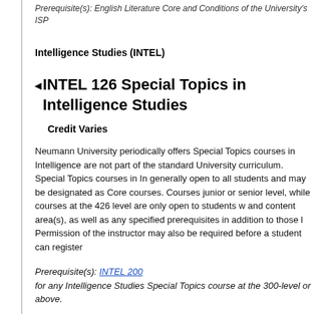Prerequisite(s): English Literature Core and Conditions of the University's ISP
Intelligence Studies (INTEL)
INTEL 126 Special Topics in Intelligence Studies
Credit Varies
Neumann University periodically offers Special Topics courses in Intelligence are not part of the standard University curriculum. Special Topics courses in Intelligence generally open to all students and may be designated as Core courses. Courses junior or senior level, while courses at the 426 level are only open to students and content area(s), as well as any specified prerequisites in addition to those. Permission of the instructor may also be required before a student can register
Prerequisite(s): INTEL 200 for any Intelligence Studies Special Topics course at the 300-level or above.
INTEL 200 Basic Intelligence Analysis